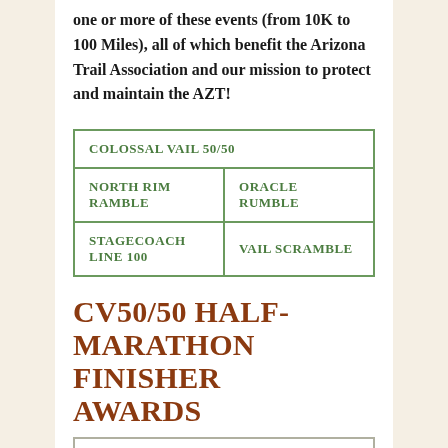one or more of these events (from 10K to 100 Miles), all of which benefit the Arizona Trail Association and our mission to protect and maintain the AZT!
| COLOSSAL VAIL 50/50 |  |
| NORTH RIM RAMBLE | ORACLE RUMBLE |
| STAGECOACH LINE 100 | VAIL SCRAMBLE |
CV50/50 HALF-MARATHON FINISHER AWARDS
October 16, 2019 | Shannon Villegas |